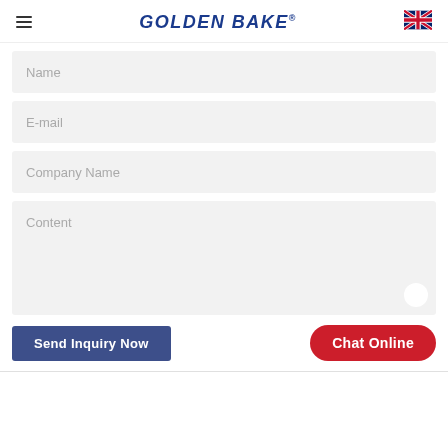GOLDEN BAKE®
Name
E-mail
Company Name
Content
Send Inquiry Now
Chat Online